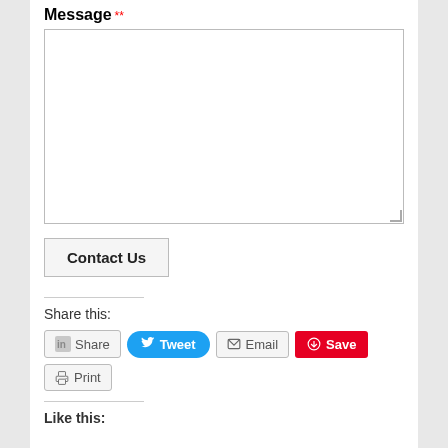Message *
[textarea field]
Contact Us [button]
Share this:
In Share  Tweet  Email  Save
Print
Like this: